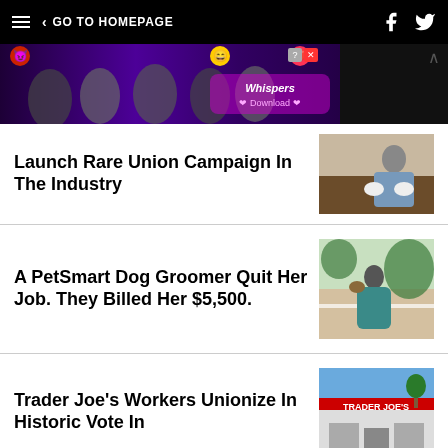GO TO HOMEPAGE
[Figure (photo): Advertisement banner with dark purple background showing stylized characters and app download call-to-action for Whispers]
Launch Rare Union Campaign In The Industry
[Figure (photo): Person wearing white gloves gesturing with hands at a table]
A PetSmart Dog Groomer Quit Her Job. They Billed Her $5,500.
[Figure (photo): Woman standing outdoors holding a dog, wearing a teal outfit]
Trader Joe's Workers Unionize In Historic Vote In
[Figure (photo): Trader Joe's store exterior sign]